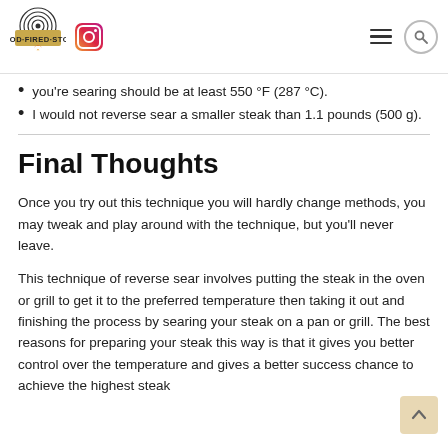Wood-Fired Stove — website header with logo and navigation icons
you're searing should be at least 550 °F (287 °C).
I would not reverse sear a smaller steak than 1.1 pounds (500 g).
Final Thoughts
Once you try out this technique you will hardly change methods, you may tweak and play around with the technique, but you'll never leave.
This technique of reverse sear involves putting the steak in the oven or grill to get it to the preferred temperature then taking it out and finishing the process by searing your steak on a pan or grill. The best reasons for preparing your steak this way is that it gives you better control over the temperature and gives a better success chance to achieve the highest steak...